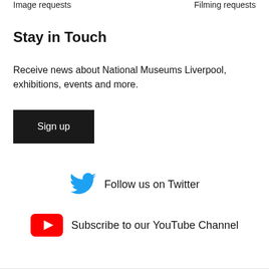Image requests   Filming requests
Stay in Touch
Receive news about National Museums Liverpool, exhibitions, events and more.
Sign up
Follow us on Twitter
Subscribe to our YouTube Channel